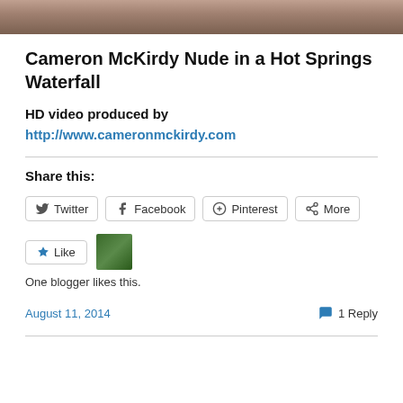[Figure (photo): Cropped photo strip at top of page showing partial image of a person]
Cameron McKirdy Nude in a Hot Springs Waterfall
HD video produced by
http://www.cameronmckirdy.com
Share this:
Twitter  Facebook  Pinterest  More
[Figure (photo): Small avatar thumbnail of a person outdoors]
One blogger likes this.
August 11, 2014
1 Reply